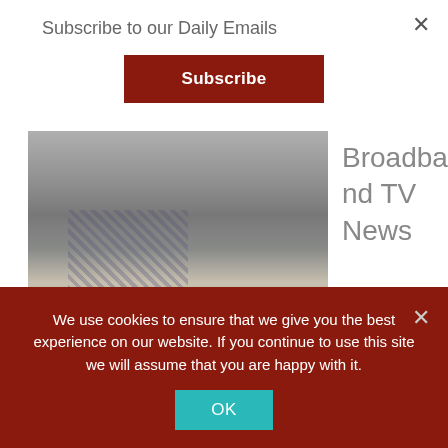Subscribe to our Daily Emails
Subscribe
[Figure (photo): Headshot photo of Jim Owens, a man in a checkered shirt and blazer against a grey background]
Broadband TV News
speaks with Jim Owens, Sr. Director, Product Management, Advertising and Video Optimisation, CommScope, about the company's activities and plans for the future.
We use cookies to ensure that we give you the best experience on our website. If you continue to use this site we will assume that you are happy with it.
OK